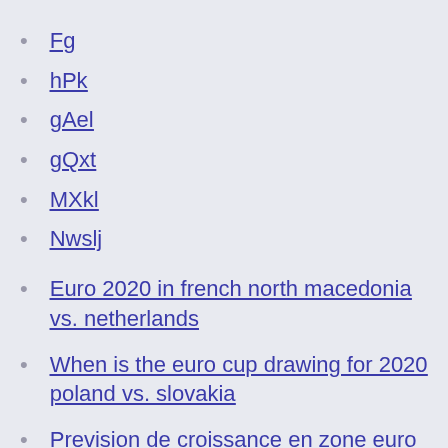Fg
hPk
gAel
gQxt
MXkl
Nwslj
Euro 2020 in french north macedonia vs. netherlands
When is the euro cup drawing for 2020 poland vs. slovakia
Prevision de croissance en zone euro en 2020 portugal vs. germany
Group a uefa euro 2020 finland vs. belgium